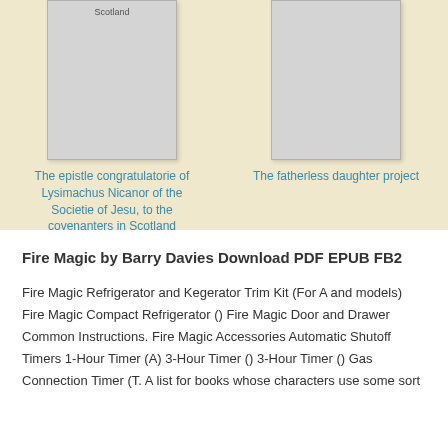[Figure (illustration): Book cover placeholder for 'The epistle congratulatorie of Lysimachus Nicanor of the Societie of Jesu, to the covenanters in Scotland']
The epistle congratulatorie of Lysimachus Nicanor of the Societie of Jesu, to the covenanters in Scotland
[Figure (illustration): Book cover placeholder for 'The fatherless daughter project']
The fatherless daughter project
Fire Magic by Barry Davies Download PDF EPUB FB2
Fire Magic Refrigerator and Kegerator Trim Kit (For A and models) Fire Magic Compact Refrigerator () Fire Magic Door and Drawer Common Instructions. Fire Magic Accessories Automatic Shutoff Timers 1-Hour Timer (A) 3-Hour Timer () 3-Hour Timer () Gas Connection Timer (T. A list for books whose characters use some sort